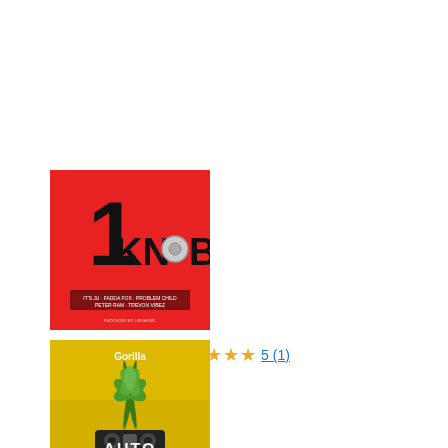[Figure (illustration): Album cover for '1 Knob Riddim' - red background with large black '1' and 'KNOB RIDDIM' text in black and red, featuring artist names at bottom: IT'S JU, FADDA FOX, PROBLEM CHILD, PETER RAM, TREVON VIBEZ. Produced by 1KB Music.]
1 Knob Riddim ★★★★★ 5 (1)
13/05/2022
[Figure (illustration): Album cover with golden/yellow background, showing cannabis plant and boombox, with text 'AUTO' visible at bottom. Gorilla logo/branding at top.]